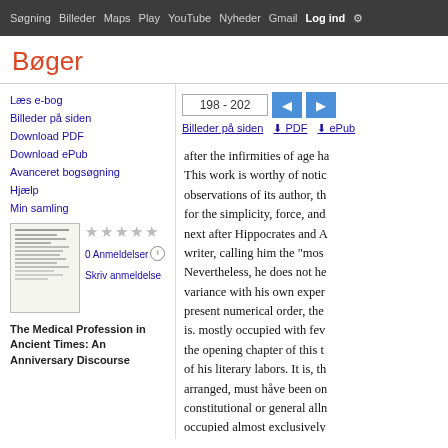Søgning Billeder Maps Play YouTube Nyheder Gmail Log ind
Bøger
Læs e-bog
Billeder på siden
Download PDF
Download ePub
Avanceret bogsøgning
Hjælp
Min samling
0 Anmeldelser
Skriv anmeldelse
The Medical Profession in Ancient Times: An Anniversary Discourse
198 - 202
Billeder på siden  PDF  ePub
after the infirmities of age ha This work is worthy of notic observations of its author, th for the simplicity, force, and next after Hippocrates and A writer, calling him the "most Nevertheless, he does not he variance with his own exper present numerical order, the is. mostly occupied with fev the opening chapter of this t of his literary labors. It is, th arranged, must håve been on constitutional or general alln occupied almost exclusively